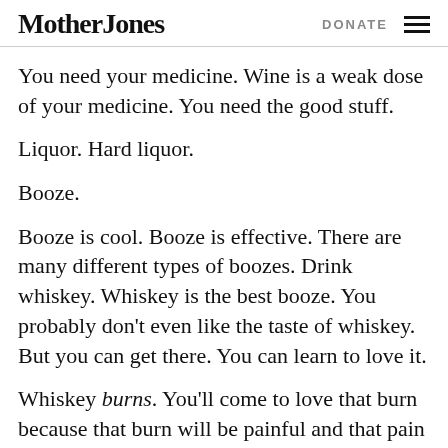Mother Jones | DONATE
You need your medicine. Wine is a weak dose of your medicine. You need the good stuff.
Liquor. Hard liquor.
Booze.
Booze is cool. Booze is effective. There are many different types of boozes. Drink whiskey. Whiskey is the best booze. You probably don't even like the taste of whiskey. But you can get there. You can learn to love it.
Whiskey burns. You'll come to love that burn because that burn will be painful and that pain will be like going home.